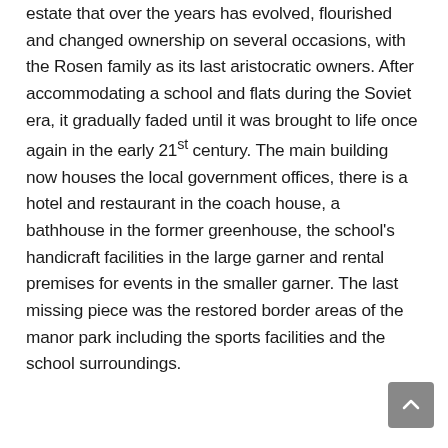estate that over the years has evolved, flourished and changed ownership on several occasions, with the Rosen family as its last aristocratic owners. After accommodating a school and flats during the Soviet era, it gradually faded until it was brought to life once again in the early 21st century. The main building now houses the local government offices, there is a hotel and restaurant in the coach house, a bathhouse in the former greenhouse, the school's handicraft facilities in the large garner and rental premises for events in the smaller garner. The last missing piece was the restored border areas of the manor park including the sports facilities and the school surroundings.